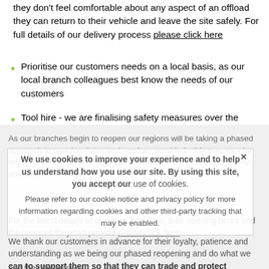they don't feel comfortable about any aspect of an offload they can return to their vehicle and leave the site safely. For full details of our delivery process please click here
Prioritise our customers needs on a local basis, as our local branch colleagues best know the needs of our customers
Tool hire - we are finalising safety measures over the coming days with regard to our Tool hire operation and further details will be shared shortly
As our branches begin to reopen our regions will be taking a phased approach to opening dates and services provided - this may vary by region with decisions being made locally based on colleague safety and customer needs.
We use cookies to improve your experience and to help us understand how you use our site. By using this site, you accept our use of cookies.

Please refer to our cookie notice and privacy policy for more information regarding cookies and other third-party tracking that may be enabled.
For the latest details of our open branches, their opening hours and the services they can provide please click here
We thank our customers in advance for their loyalty, patience and understanding as we being our phased reopening and do what we can to support them so that they can trade and protect themselves and their businesses...